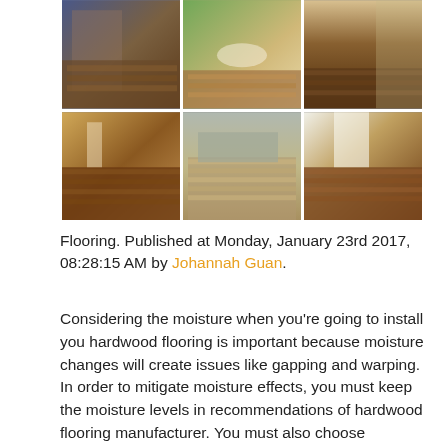[Figure (photo): A 2x3 grid of six interior photos showing hardwood flooring in various home settings: staircase, sunroom, dining room, kitchen, living room with sofa, and hallway/entryway.]
Flooring. Published at Monday, January 23rd 2017, 08:28:15 AM by Johannah Guan.
Considering the moisture when you're going to install you hardwood flooring is important because moisture changes will create issues like gapping and warping. In order to mitigate moisture effects, you must keep the moisture levels in recommendations of hardwood flooring manufacturer. You must also choose hardwood flooring that has right construction. Install